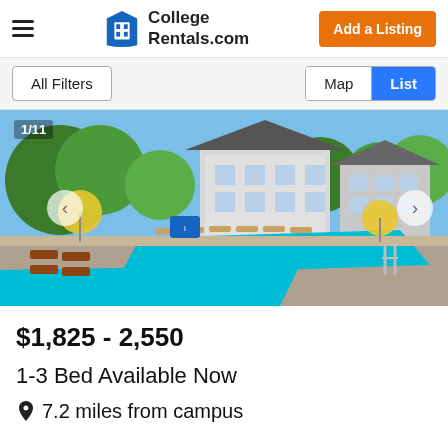College Rentals.com | Add a Listing
All Filters | Map | List
[Figure (photo): Apartment complex with swimming pool, lounge chairs, umbrellas, and lush trees under a blue sky. Counter shows 1/11.]
$1,825 - 2,550
1-3 Bed Available Now
7.2 miles from campus